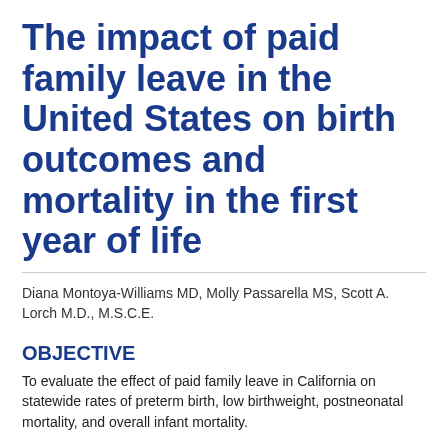The impact of paid family leave in the United States on birth outcomes and mortality in the first year of life
Diana Montoya-Williams MD, Molly Passarella MS, Scott A. Lorch M.D., M.S.C.E.
OBJECTIVE
To evaluate the effect of paid family leave in California on statewide rates of preterm birth, low birthweight, postneonatal mortality, and overall infant mortality.